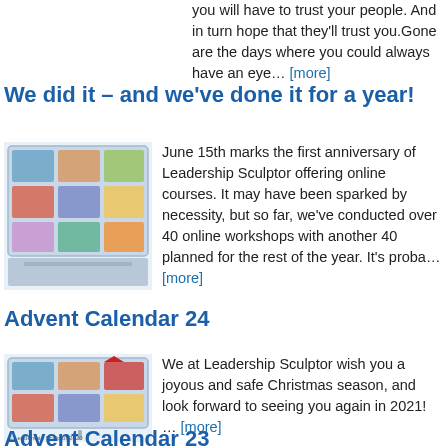you will have to trust your people. And in turn hope that they'll trust you.Gone are the days where you could always have an eye… [more]
We did it – and we've done it for a year!
[Figure (illustration): Illustration of people on a video call screen]
June 15th marks the first anniversary of Leadership Sculptor offering online courses. It may have been sparked by necessity, but so far, we've conducted over 40 online workshops with another 40 planned for the rest of the year. It's proba… [more]
Advent Calendar 24
[Figure (illustration): Illustration of people on a video call screen with festive decorations]
We at Leadership Sculptor wish you a joyous and safe Christmas season, and look forward to seeing you again in 2021! … [more]
Advent Calendar 23